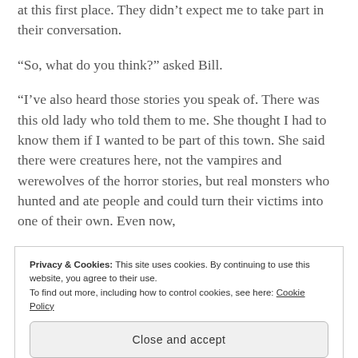at this first place. They didn't expect me to take part in their conversation.
“So, what do you think?” asked Bill.
“I’ve also heard those stories you speak of. There was this old lady who told them to me. She thought I had to know them if I wanted to be part of this town. She said there were creatures here, not the vampires and werewolves of the horror stories, but real monsters who hunted and ate people and could turn their victims into one of their own. Even now,
[Figure (screenshot): Cookie consent banner with text 'Privacy & Cookies: This site uses cookies. By continuing to use this website, you agree to their use. To find out more, including how to control cookies, see here: Cookie Policy' and a 'Close and accept' button.]
Everybody was silent for a moment. They seemed to